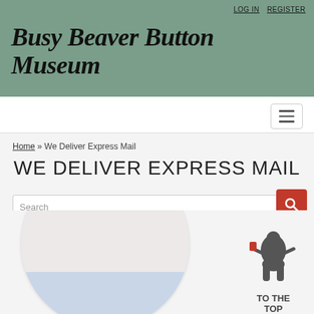LOG IN   REGISTER
Busy Beaver Button Museum
Home » We Deliver Express Mail
WE DELIVER EXPRESS MAIL
Search
[Figure (screenshot): A circular button/pin reading WE DELIVER. with a postal-themed image, and a beaver mascot illustration with text TO THE TOP in the bottom right corner.]